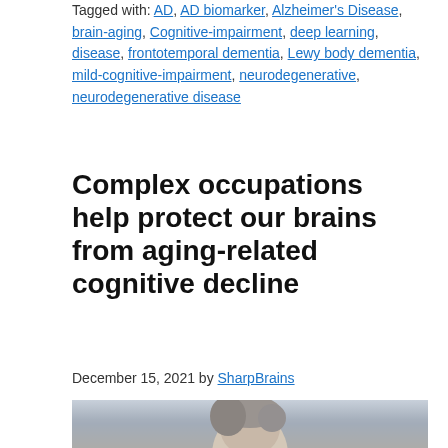Tagged with: AD, AD biomarker, Alzheimer's Disease, brain-aging, Cognitive-impairment, deep learning, disease, frontotemporal dementia, Lewy body dementia, mild-cognitive-impairment, neurodegenerative, neurodegenerative disease
Complex occupations help protect our brains from aging-related cognitive decline
December 15, 2021 by SharpBrains
[Figure (photo): Photo of a middle-aged woman with grey-streaked hair looking upward, appears to be in an indoor setting with blurred background]